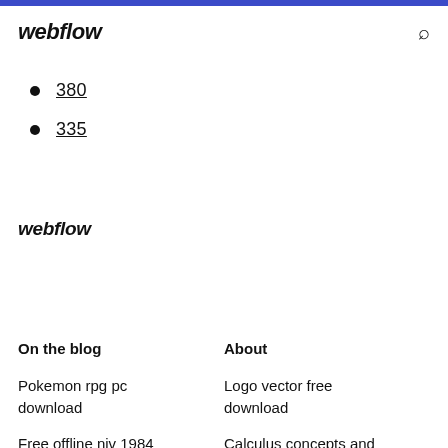webflow
380
335
webflow
On the blog
About
Pokemon rpg pc download
Logo vector free download
Free offline niv 1984
Calculus concepts and